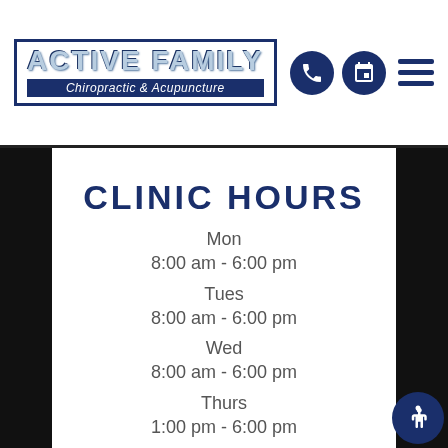[Figure (logo): Active Family Chiropractic & Acupuncture logo with blue border and dark navy background subtitle bar]
CLINIC HOURS
Mon
8:00 am - 6:00 pm
Tues
8:00 am - 6:00 pm
Wed
8:00 am - 6:00 pm
Thurs
1:00 pm - 6:00 pm